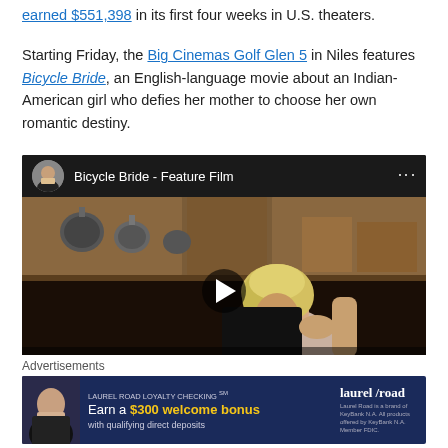earned $551,398 in its first four weeks in U.S. theaters.
Starting Friday, the Big Cinemas Golf Glen 5 in Niles features Bicycle Bride, an English-language movie about an Indian-American girl who defies her mother to choose her own romantic destiny.
[Figure (screenshot): YouTube-style embedded video player for 'Bicycle Bride - Feature Film' showing a woman with blonde hair in a kitchen scene, with a play button overlay. The video header shows a circular avatar of a man in a suit, the video title, and a three-dot menu.]
Advertisements
[Figure (screenshot): Laurel Road Loyalty Checking advertisement banner: 'Earn a $300 welcome bonus with qualifying direct deposits'. Shows a woman in a black dress and the Laurel Road logo.]